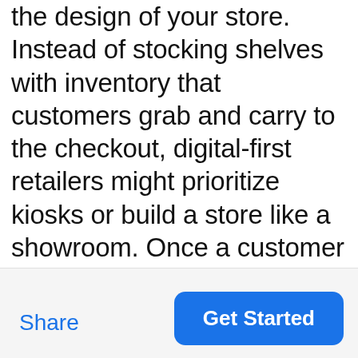the design of your store. Instead of stocking shelves with inventory that customers grab and carry to the checkout, digital-first retailers might prioritize kiosks or build a store like a showroom. Once a customer makes a purchase decision, the retailer can bring out the selected item from a backroom warehousing area or have it shipped to their home. A popular example of this model is Apple, who turned its retail locations into an experience instead of a traditional store. This model also helps maintain
Share
Get Started